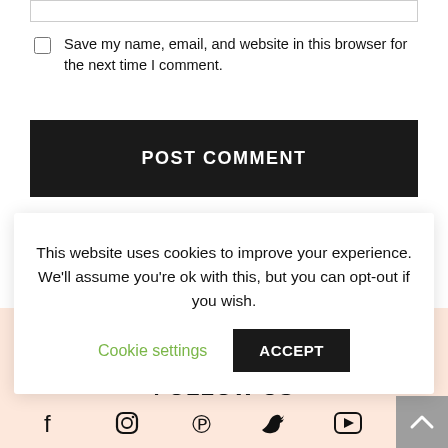[Figure (screenshot): Top portion of a web form input box (text field, partially cut off at top)]
Save my name, email, and website in this browser for the next time I comment.
POST COMMENT
This website uses cookies to improve your experience. We'll assume you're ok with this, but you can opt-out if you wish.  Cookie settings  ACCEPT
[Figure (logo): Partial logo with blue bird/wing icon and italic purple text 'Homemade Food']
FOLLOW US
[Figure (infographic): Social media icons row: Facebook, Instagram, Pinterest, Twitter, YouTube]
[Figure (other): Grey scroll-to-top button with upward caret arrow in bottom right corner]